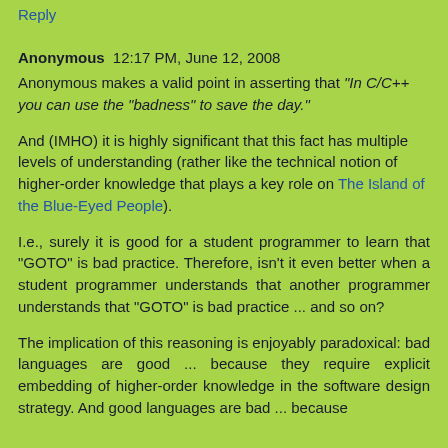Reply
Anonymous 12:17 PM, June 12, 2008
Anonymous makes a valid point in asserting that "In C/C++ you can use the "badness" to save the day."
And (IMHO) it is highly significant that this fact has multiple levels of understanding (rather like the technical notion of higher-order knowledge that plays a key role on The Island of the Blue-Eyed People).
I.e., surely it is good for a student programmer to learn that "GOTO" is bad practice. Therefore, isn't it even better when a student programmer understands that another programmer understands that "GOTO" is bad practice ... and so on?
The implication of this reasoning is enjoyably paradoxical: bad languages are good ... because they require explicit embedding of higher-order knowledge in the software design strategy. And good languages are bad ... because